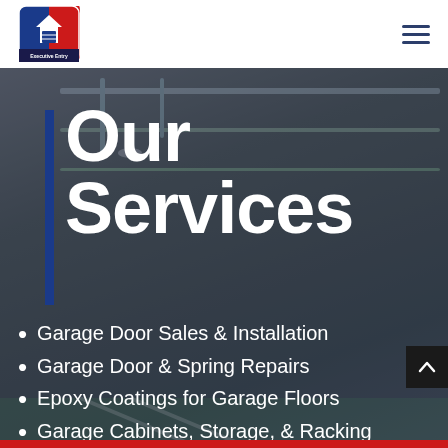[Figure (logo): Executive Entry company logo — shield shape with blue and red sections, house/garage door icon in center, text below]
[Figure (other): Hamburger menu icon (three horizontal dark blue lines)]
[Figure (photo): Background photo of a garage interior showing ceiling tracks, lighting, and epoxy floor]
Our Services
Garage Door Sales & Installation
Garage Door & Spring Repairs
Epoxy Coatings for Garage Floors
Garage Cabinets, Storage, & Racking Systems